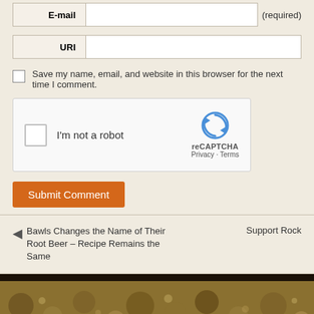| E-mail |  |
| --- | --- |
| E-mail |  |
| URI |  |
| --- | --- |
| URI |  |
Save my name, email, and website in this browser for the next time I comment.
[Figure (screenshot): reCAPTCHA widget with checkbox and 'I'm not a robot' text, reCAPTCHA branding with Privacy and Terms links]
Submit Comment
Bawls Changes the Name of Their Root Beer – Recipe Remains the Same
Support Rock
[Figure (photo): Close-up photo of bubbly liquid or carbonated beverage surface with brown and tan tones, (C) copyright mark visible]